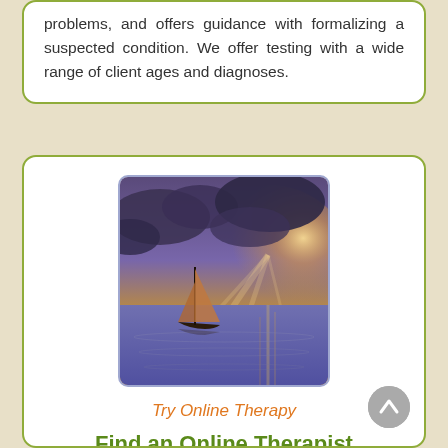problems, and offers guidance with formalizing a suspected condition. We offer testing with a wide range of client ages and diagnoses.
[Figure (photo): Sailboat on calm water at sunset with dramatic sunbeams breaking through clouds, purple and golden tones]
Try Online Therapy
Find an Online Therapist
Location: Elizabethton, Tennessee